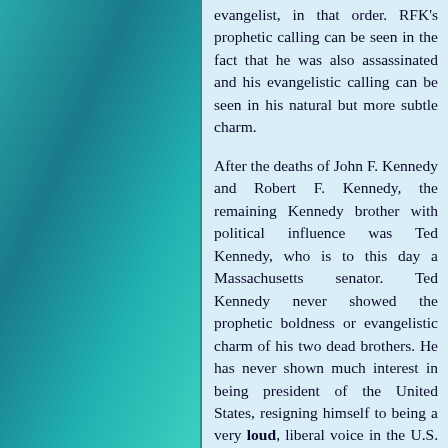evangelist, in that order. RFK's prophetic calling can be seen in the fact that he was also assassinated and his evangelistic calling can be seen in his natural but more subtle charm.
After the deaths of John F. Kennedy and Robert F. Kennedy, the remaining Kennedy brother with political influence was Ted Kennedy, who is to this day a Massachusetts senator. Ted Kennedy never showed the prophetic boldness or evangelistic charm of his two dead brothers. He has never shown much interest in being president of the United States, resigning himself to being a very loud, liberal voice in the U.S. Senate.
A few years ago, JFK's son, John F. Kennedy Jr., died in a tragic plane crash. Besides this tragedy,